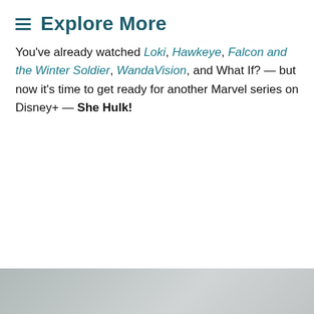≡ Explore More
You've already watched Loki, Hawkeye, Falcon and the Winter Soldier, WandaVision, and What If? — but now it's time to get ready for another Marvel series on Disney+ — She Hulk!
[Figure (photo): Bottom portion of a photograph, partially visible, showing dark figures against a muted background, with a close button (×) overlay in the top-right corner.]